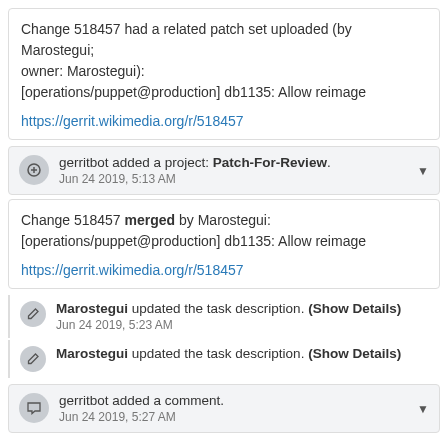Change 518457 had a related patch set uploaded (by Marostegui; owner: Marostegui):
[operations/puppet@production] db1135: Allow reimage

https://gerrit.wikimedia.org/r/518457
gerritbot added a project: Patch-For-Review.
Jun 24 2019, 5:13 AM
Change 518457 merged by Marostegui:
[operations/puppet@production] db1135: Allow reimage

https://gerrit.wikimedia.org/r/518457
Marostegui updated the task description. (Show Details)
Jun 24 2019, 5:23 AM
Marostegui updated the task description. (Show Details)
gerritbot added a comment.
Jun 24 2019, 5:27 AM